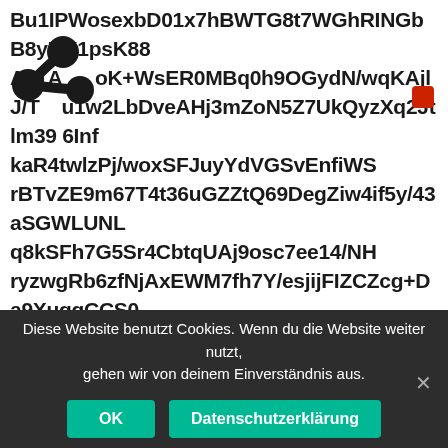Bu1IPWosexbD01x7hBWTG8t7WGhRINGbB8yKK1psK88A61A[logo]oK+WsER0MBq0h9OGydN/wqKAjlJ/T[logo]u1w2LbDveAHj3mZoN5Z7UkQyzXq2Jtlm39[red]6InfkaR4twlzPj/woxSFJuyYdVGSvEnfiWSrBTvZE9m67T4t36uGZZtQ69DegZiw4if5y/43aSGWLUNLq8kSFh7G5Sr4CbtqUAj9osc7ee14/NHryzwgRb6zfNjAxEWM7fh7Y/esjijFIZCZcg+Da9XuggCCS0er7wXf2j/0SobmSokN1lZFt0Ogw93k3Jl7mp8/N9fo1cGOkzA9bcmIGmDH3eDF8Yuj95QkO5yu05HbkQA0e/JUamT6+hNckAlmEFAdNhyZgKl3lEYTZnm7YXLqYkgc/dd5nIZeua7uu5YOMx4zd0Lh3rRvcsjRACJgziQh4UkD2EyG0Uo0RUmR5mzZiYPjMuqIz9/uLgH2+OsZzY60UzWU67mzSob8aR/+xMwnwS1QfaVjQxEbLrgB1UYh3owI6DM6DYl6AfigfiOcUCZQ1ig5gItPY4vn0DjzHom0GWznK+3m5
Diese Website benutzt Cookies. Wenn du die Website weiter nutzt, gehen wir von deinem Einverständnis aus.
OK
Datenschutzerklärung